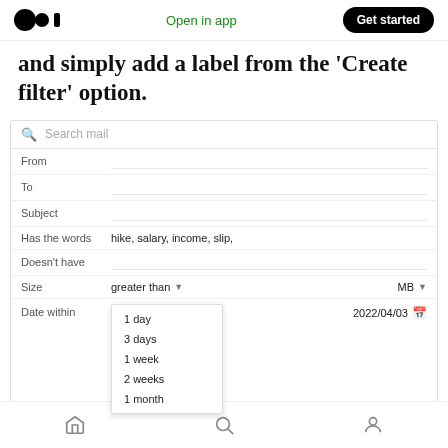Open in app | Get started
and simply add a label from the 'Create filter' option.
[Figure (screenshot): Gmail search filter interface showing fields: From, To, Subject, Has the words (hike, salary, income, slip,), Doesn't have, Size (greater than, MB), Date within (dropdown with options: 1 day, 3 days, 1 week, 2 weeks, 1 month; date 2022/04/03), Search, Has attachments checkbox, chats, with Create filter button (red border) and Search button (blue).]